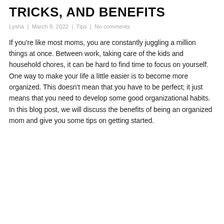TRICKS, AND BENEFITS
Lysha | March 9, 2022 | Tips | No comments
If you're like most moms, you are constantly juggling a million things at once. Between work, taking care of the kids and household chores, it can be hard to find time to focus on yourself. One way to make your life a little easier is to become more organized. This doesn't mean that you have to be perfect; it just means that you need to develop some good organizational habits. In this blog post, we will discuss the benefits of being an organized mom and give you some tips on getting started.